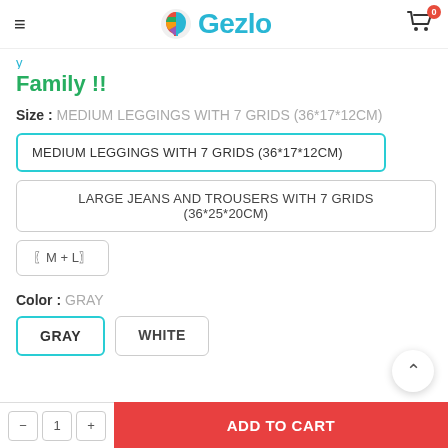Gezlo
Family !!
Size :  MEDIUM LEGGINGS WITH 7 GRIDS (36*17*12CM)
MEDIUM LEGGINGS WITH 7 GRIDS (36*17*12CM)
LARGE JEANS AND TROUSERS WITH 7 GRIDS (36*25*20CM)
〖M + L〗
Color :  GRAY
GRAY
WHITE
ADD TO CART